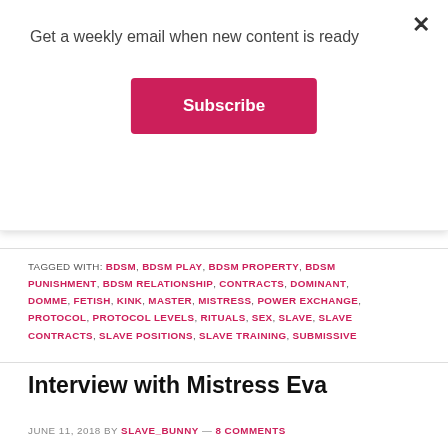Get a weekly email when new content is ready
Subscribe
with her Master / Daddy Dominant and writes helpful educational posts on a variety of subjects.
TAGGED WITH: BDSM, BDSM PLAY, BDSM PROPERTY, BDSM PUNISHMENT, BDSM RELATIONSHIP, CONTRACTS, DOMINANT, DOMME, FETISH, KINK, MASTER, MISTRESS, POWER EXCHANGE, PROTOCOL, PROTOCOL LEVELS, RITUALS, SEX, SLAVE, SLAVE CONTRACTS, SLAVE POSITIONS, SLAVE TRAINING, SUBMISSIVE
Interview with Mistress Eva
JUNE 11, 2018 BY SLAVE_BUNNY — 8 COMMENTS